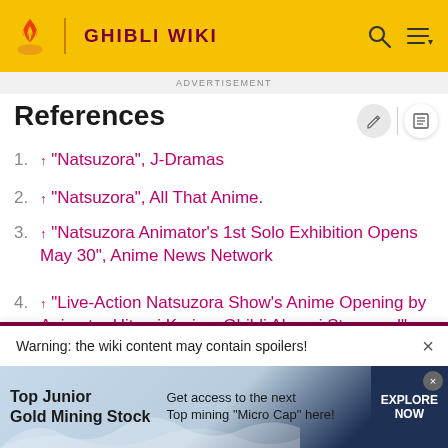GHIBLI WIKI
ADVERTISEMENT
References
↑ "Natsuzora", J-Dramas
↑ "Natsuzora", All That Anime.
↑ "Natsuzora Animator's 1st Solo Exhibition Opens May 30", Anime News Network
↑ "Live-Action Natsuzora Show's Anime Opening by Animator Hitomi Kariya, Ghibli Alumni Streamed",
Warning: the wiki content may contain spoilers!
Top Junior Gold Mining Stock  Get access to the next Top mining "Micro Cap" here!  EXPLORE NOW